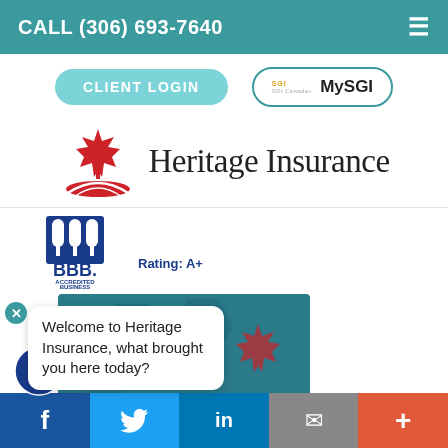CALL (306) 693-7640
[Figure (logo): CLIENT LOGIN button and MySGI button with SGI logo]
[Figure (logo): Heritage Insurance logo with red maple leaf and road graphic]
[Figure (logo): BBB Accredited Business Rating: A+ badge]
Welcome to Heritage Insurance, what brought you here today?
[Figure (photo): Heritage Insurance promotional event banner background image]
Facebook | Twitter | LinkedIn | Email | More